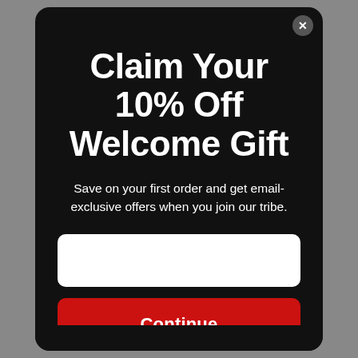Claim Your 10% Off Welcome Gift
Save on your first order and get email-exclusive offers when you join our tribe.
[Figure (other): Email input field (white rectangle)]
Continue